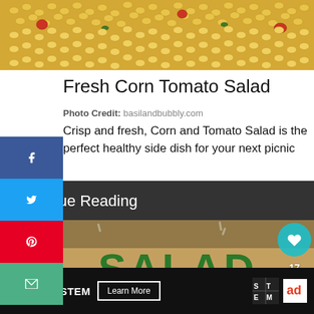[Figure (photo): Close-up top-down photo of fresh corn kernels with tomatoes and green herbs in a salad bowl]
Fresh Corn Tomato Salad
Photo Credit: basilandbubbly.com
Crisp and fresh, Corn and Tomato Salad is the perfect healthy side dish for your next picnic
Continue Reading
[Figure (photo): Photo of tortellini pasta salad with text overlay reading SALAD in large green letters; social share icons in top-right corner]
[Figure (screenshot): Advertisement bar at bottom: SHE CAN STEM with Learn More button, STEM logo, Ad Council logo]